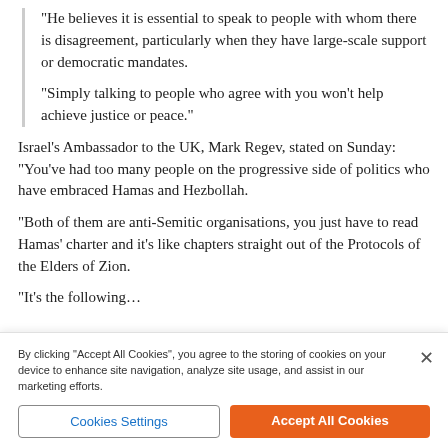“He believes it is essential to speak to people with whom there is disagreement, particularly when they have large-scale support or democratic mandates.
“Simply talking to people who agree with you won’t help achieve justice or peace.”
Israel’s Ambassador to the UK, Mark Regev, stated on Sunday: “You’ve had too many people on the progressive side of politics who have embraced Hamas and Hezbollah.
“Both of them are anti-Semitic organisations, you just have to read Hamas’ charter and it’s like chapters straight out of the Protocols of the Elders of Zion.
“It’s the following…
By clicking “Accept All Cookies”, you agree to the storing of cookies on your device to enhance site navigation, analyze site usage, and assist in our marketing efforts.
Cookies Settings
Accept All Cookies